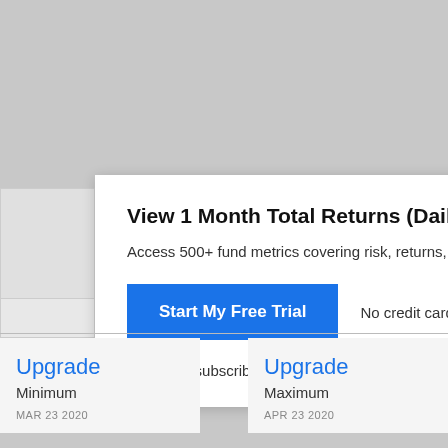View 1 Month Total Returns (Daily) for CNRWX
Access 500+ fund metrics covering risk, returns, exposu…
Start My Free Trial   No credit card required.
Already a subscriber? Sign in.
Upgrade
Minimum
MAR 23 2020
Upgrade
Maximum
APR 23 2020